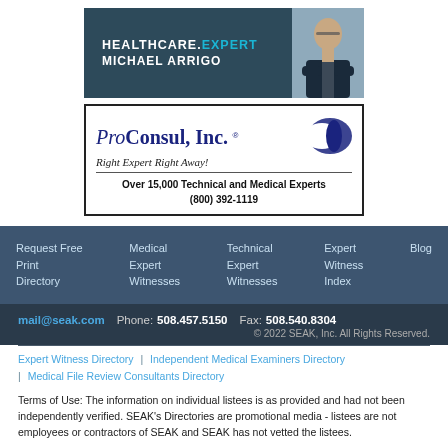[Figure (logo): Healthcare.Expert Michael Arrigo banner with dark teal background and photo of man in suit]
[Figure (logo): ProConsul, Inc. logo with tagline 'Right Expert Right Away!' and text 'Over 15,000 Technical and Medical Experts (800) 392-1119']
Request Free Print Directory   Medical Expert Witnesses   Technical Expert Witnesses   Expert Witness Index   Blog
mail@seak.com   Phone: 508.457.5150   Fax: 508.540.8304   © 2022 SEAK, Inc. All Rights Reserved.
Expert Witness Directory | Independent Medical Examiners Directory | Medical File Review Consultants Directory
Terms of Use: The information on individual listees is as provided and had not been independently verified. SEAK's Directories are promotional media - listees are not employees or contractors of SEAK and SEAK has not vetted the listees.